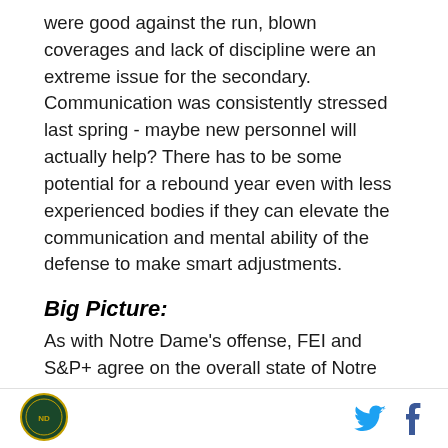were good against the run, blown coverages and lack of discipline were an extreme issue for the secondary. Communication was consistently stressed last spring - maybe new personnel will actually help? There has to be some potential for a rebound year even with less experienced bodies if they can elevate the communication and mental ability of the defense to make smart adjustments.
Big Picture:
As with Notre Dame's offense, FEI and S&P+ agree on the overall state of Notre Dame's defense- it was just ok. A high rate of three and outs (20th nationally by FEI) and relative strength limiting opponents efficiency
[logo] [twitter] [facebook]